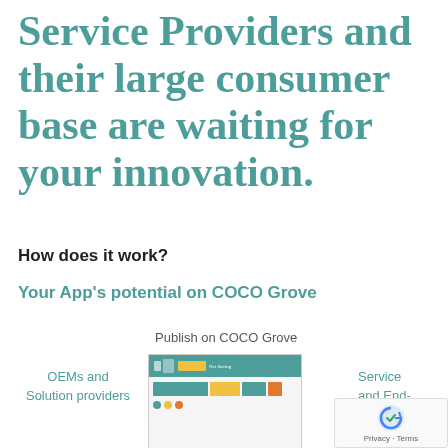Service Providers and their large consumer base are waiting for your innovation.
How does it work?
Your App's potential on COCO Grove
[Figure (infographic): Diagram showing app publishing flow on COCO Grove platform with 'Publish on COCO Grove' label at top center, 'OEMs and Solution providers' on the left, a screenshot of the COCO Grove app interface in the center, and 'Service and End-' text on the right. A reCAPTCHA badge appears in the bottom right corner.]